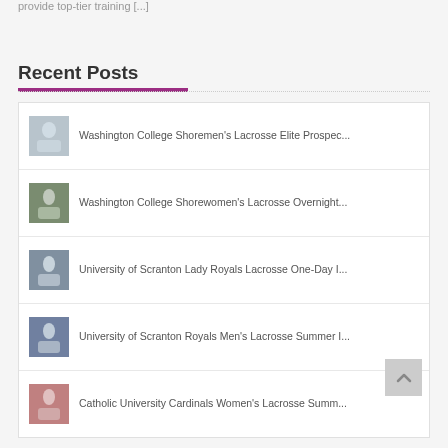provide top-tier training [...]
Recent Posts
Washington College Shoremen's Lacrosse Elite Prospec...
Washington College Shorewomen's Lacrosse Overnight...
University of Scranton Lady Royals Lacrosse One-Day I...
University of Scranton Royals Men's Lacrosse Summer I...
Catholic University Cardinals Women's Lacrosse Summ...